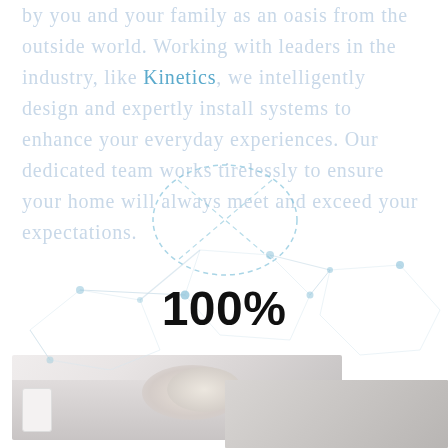by you and your family as an oasis from the outside world. Working with leaders in the industry, like Kinetics, we intelligently design and expertly install systems to enhance your everyday experiences. Our dedicated team works tirelessly to ensure your home will always meet and exceed your expectations.
100%
[Figure (photo): Interior home photo showing a ceiling light fixture and a wall switch panel, with muted gray tones]